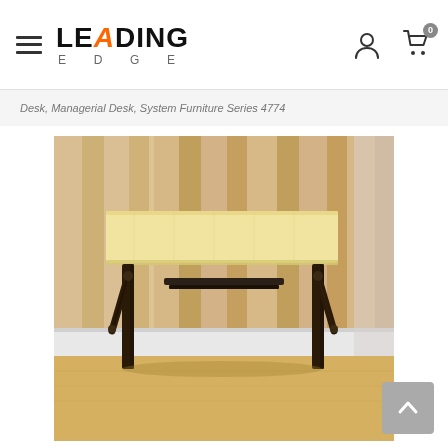LEADING EDGE
Desk, Managerial Desk, System Furniture Series 4774
[Figure (photo): A folding training/conference table with a light wood-tone laminate top and dark brown/black metal folding legs, photographed against a striped wood-panel background on a light wood floor.]